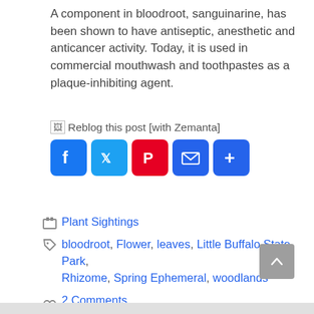A component in bloodroot, sanguinarine, has been shown to have antiseptic, anesthetic and anticancer activity. Today, it is used in commercial mouthwash and toothpastes as a plaque-inhibiting agent.
[Figure (other): Broken image placeholder for 'Reblog this post [with Zemanta]' followed by social sharing buttons: Facebook, Twitter, Pinterest, Email, and More (+)]
Plant Sightings (category)
bloodroot, Flower, leaves, Little Buffalo State Park, Rhizome, Spring Ephemeral, woodlands (tags)
2 Comments